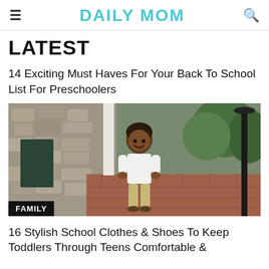DAILY MOM
LATEST
14 Exciting Must Haves For Your Back To School List For Preschoolers
[Figure (photo): A young smiling child in a white t-shirt and khaki pants standing on a brick walkway in front of a stone building with trees and a lamp post, with a FAMILY badge overlay]
16 Stylish School Clothes & Shoes To Keep Toddlers Through Teens Comfortable &